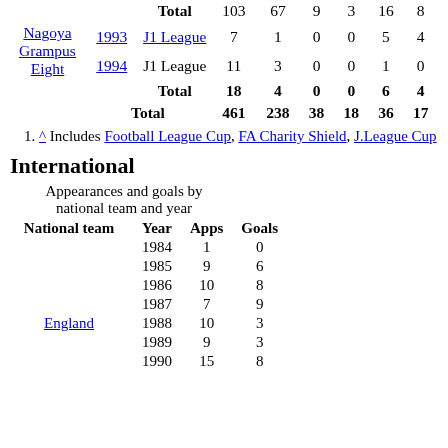| Club | Year | Competition | Apps | Goals | OG | Ass | Cup Apps | Cup Goals |
| --- | --- | --- | --- | --- | --- | --- | --- | --- |
|  |  | Total | 103 | 67 | 9 | 3 | 16 | 8 |
| Nagoya Grampus Eight | 1993 | J1 League | 7 | 1 | 0 | 0 | 5 | 4 |
| Nagoya Grampus Eight | 1994 | J1 League | 11 | 3 | 0 | 0 | 1 | 0 |
|  |  | Total | 18 | 4 | 0 | 0 | 6 | 4 |
|  |  | Total | 461 | 238 | 38 | 18 | 36 | 17 |
1. ^ Includes Football League Cup, FA Charity Shield, J.League Cup
International
Appearances and goals by national team and year
| National team | Year | Apps | Goals |
| --- | --- | --- | --- |
|  | 1984 | 1 | 0 |
|  | 1985 | 9 | 6 |
|  | 1986 | 10 | 8 |
|  | 1987 | 7 | 9 |
| England | 1988 | 10 | 3 |
|  | 1989 | 9 | 3 |
|  | 1990 | 15 | 8 |